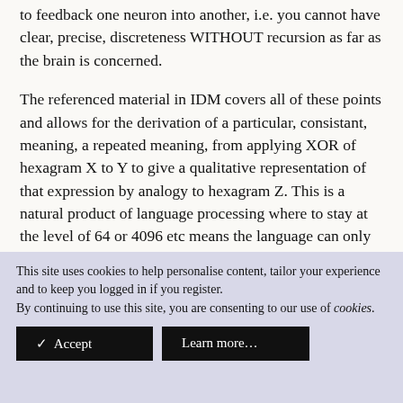to feedback one neuron into another, i.e. you cannot have clear, precise, discreteness WITHOUT recursion as far as the brain is concerned.
The referenced material in IDM covers all of these points and allows for the derivation of a particular, consistant, meaning, a repeated meaning, from applying XOR of hexagram X to Y to give a qualitative representation of that expression by analogy to hexagram Z. This is a natural product of language processing where to stay at the level of 64 or 4096 etc means the language can only represent things through mostly analogy/metaphor to other qualities in the language (we note that using hexagrams so our
This site uses cookies to help personalise content, tailor your experience and to keep you logged in if you register.
By continuing to use this site, you are consenting to our use of cookies.